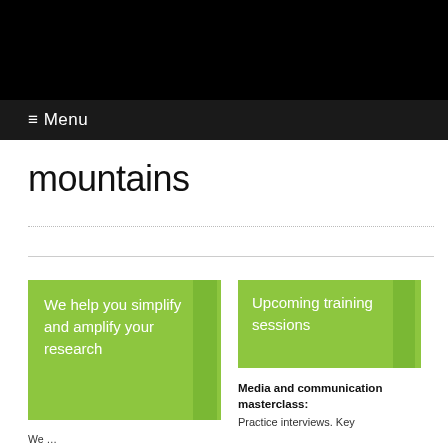≡ Menu
mountains
We help you simplify and amplify your research
Upcoming training sessions
Media and communication masterclass:
Practice interviews. Key